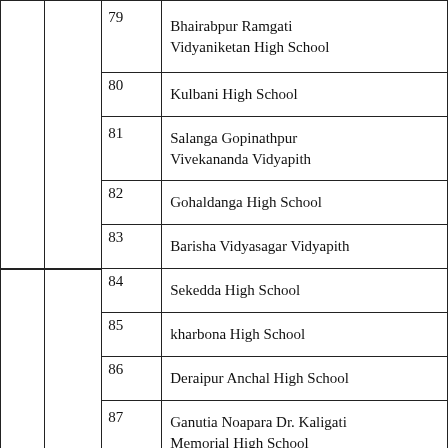|  |  | 79 | Bhairabpur Ramgati Vidyaniketan High School |
|  |  | 80 | Kulbani High School |
|  |  | 81 | Salanga Gopinathpur Vivekananda Vidyapith |
|  |  | 82 | Gohaldanga High School |
|  |  | 83 | Barisha Vidyasagar Vidyapith |
|  |  | 84 | Sekedda High School |
|  |  | 85 | kharbona High School |
|  |  | 86 | Deraipur Anchal High School |
|  |  | 87 | Ganutia Noapara Dr. Kaligati Memorial High School |
|  |  | 88 | Laghosa High School |